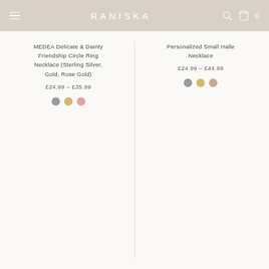RANISKA
MEDEA Delicate & Dainty Friendship Circle Ring Necklace (Sterling Silver, Gold, Rose Gold)
£24.99 – £35.99
Personalized Small Halle Necklace
£24.99 – £44.99